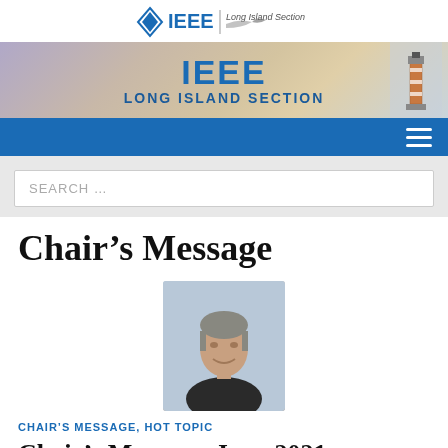[Figure (logo): IEEE Long Island Section logo with IEEE diamond logo and eagle/bird graphic]
[Figure (photo): IEEE Long Island Section banner with lighthouse at right and blue text reading IEEE LONG ISLAND SECTION]
[Figure (screenshot): Blue navigation bar with hamburger menu icon on the right]
[Figure (screenshot): Search input box with placeholder text SEARCH ...]
Chair’s Message
[Figure (photo): Headshot photo of a middle-aged man with grey hair, smiling, wearing a dark jacket, outdoors]
CHAIR’S MESSAGE, HOT TOPIC
Chair’s Message, June 2021